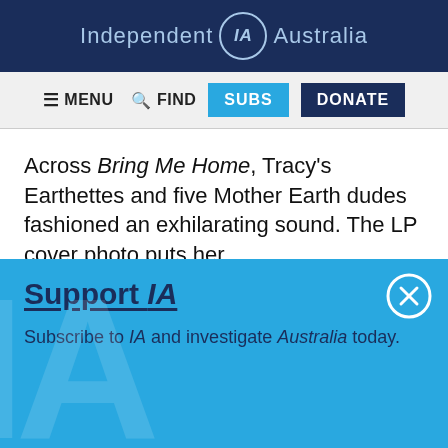Independent IA Australia
MENU  FIND  SUBS  DONATE
Across Bring Me Home, Tracy's Earthettes and five Mother Earth dudes fashioned an exhilarating sound. The LP cover photo puts her
Support IA
Subscribe to IA and investigate Australia today.
Close  Subscribe  Donate
Twitter  Facebook  LinkedIn  Flipboard  Link  More